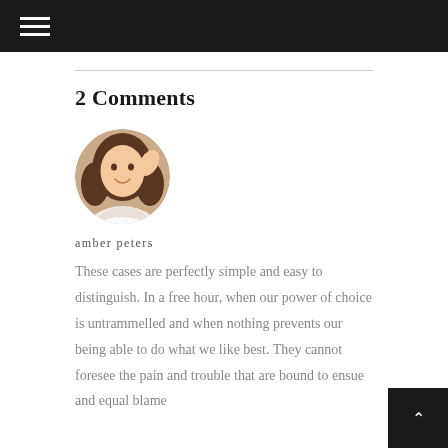2 Comments
[Figure (photo): Circular avatar photo of a young woman with brown hair, smiling]
amber peters
These cases are perfectly simple and easy to distinguish. In a free hour, when our power of choice is untrammelled and when nothing prevents our being able to do what we like best. They cannot foresee the pain and trouble that are bound to ensue and equal blame